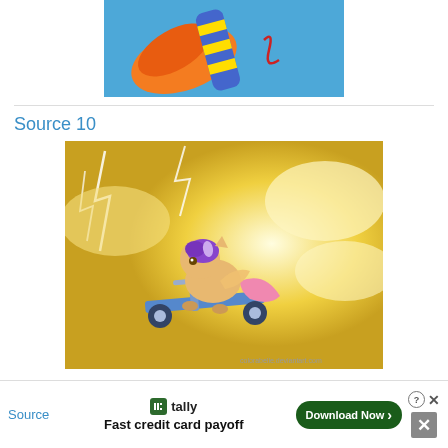[Figure (illustration): Partial view of a cartoon pony with orange/red hair wearing blue and yellow striped socks, on a blue background — cropped at top]
Source 10
[Figure (illustration): Cartoon pony with purple hair riding a scooter through dramatic yellow lightning storm clouds]
Source
[Figure (infographic): Advertisement banner: Tally app — Fast credit card payoff — Download Now button, with close X and close box controls]